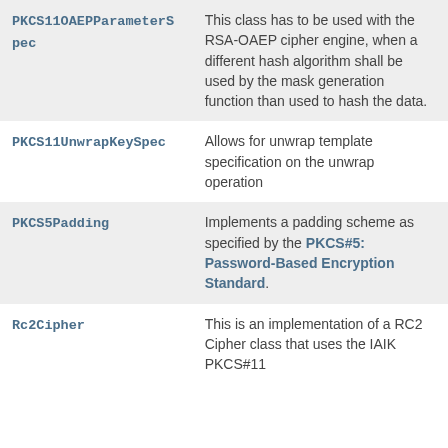| Class | Description |
| --- | --- |
| PKCS11OAEPParameterSpec | This class has to be used with the RSA-OAEP cipher engine, when a different hash algorithm shall be used by the mask generation function than used to hash the data. |
| PKCS11UnwrapKeySpec | Allows for unwrap template specification on the unwrap operation |
| PKCS5Padding | Implements a padding scheme as specified by the PKCS#5: Password-Based Encryption Standard. |
| Rc2Cipher | This is an implementation of a RC2 Cipher class that uses the IAIK PKCS#11 |